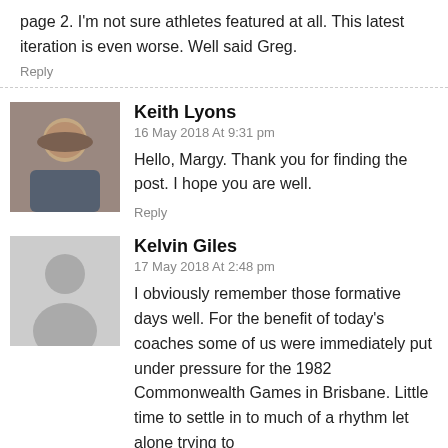page 2. I'm not sure athletes featured at all. This latest iteration is even worse. Well said Greg.
Reply
Keith Lyons
16 May 2018 At 9:31 pm
Hello, Margy. Thank you for finding the post. I hope you are well.
Reply
[Figure (photo): Avatar photo of Keith Lyons, a bald man]
Kelvin Giles
17 May 2018 At 2:48 pm
I obviously remember those formative days well. For the benefit of today's coaches some of us were immediately put under pressure for the 1982 Commonwealth Games in Brisbane. Little time to settle in to much of a rhythm let alone trying to
[Figure (illustration): Generic grey avatar placeholder silhouette for Kelvin Giles]